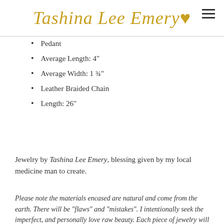Tashina Lee Emery
Pedant
Average Length: 4"
Average Width: 1 ¾"
Leather Braided Chain
Length: 26"
Jewelry by Tashina Lee Emery, blessing given by my local medicine man to create.
Please note the materials encased are natural and come from the earth. There will be "flaws" and "mistakes". I intentionally seek the imperfect, and personally love raw beauty. Each piece of jewelry will not look like the